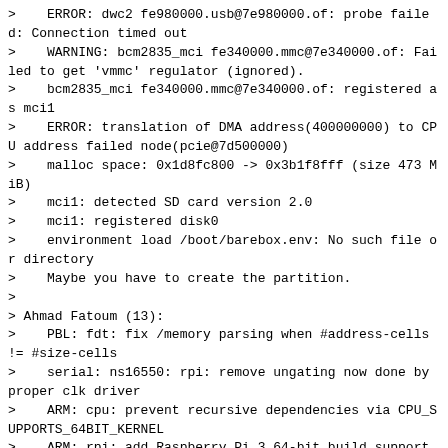>    ERROR: dwc2 fe980000.usb@7e980000.of: probe failed: Connection timed out
>    WARNING: bcm2835_mci fe340000.mmc@7e340000.of: Failed to get 'vmmc' regulator (ignored).
>    bcm2835_mci fe340000.mmc@7e340000.of: registered as mci1
>    ERROR: translation of DMA address(400000000) to CPU address failed node(pcie@7d500000)
>    malloc space: 0x1d8fc800 -> 0x3b1f8fff (size 473 MiB)
>    mci1: detected SD card version 2.0
>    mci1: registered disk0
>    environment load /boot/barebox.env: No such file or directory
>    Maybe you have to create the partition.
>
> Ahmad Fatoum (13):
>    PBL: fdt: fix /memory parsing when #address-cells != #size-cells
>    serial: ns16550: rpi: remove ungating now done by proper clk driver
>    ARM: cpu: prevent recursive dependencies via CPU_SUPPORTS_64BIT_KERNEL
>    ARM: rpi: add Raspberry Pi 3 64-bit build support
>    ARM: rpi: rpi3: disallow MMU_EARLY && 64BIT
>    clk: rpi: add Raspberry Pi 4 support
>    serial: ns16550: rpi: skip baudrate changes for bcm2711
>    clocksource: bcm2835: bump below architeced timer for AArch64